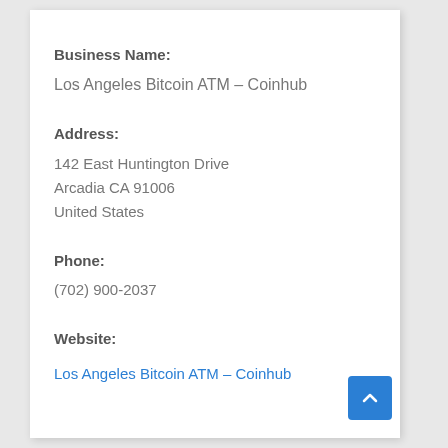Business Name:
Los Angeles Bitcoin ATM – Coinhub
Address:
142 East Huntington Drive
Arcadia CA 91006
United States
Phone:
(702) 900-2037
Website:
Los Angeles Bitcoin ATM – Coinhub